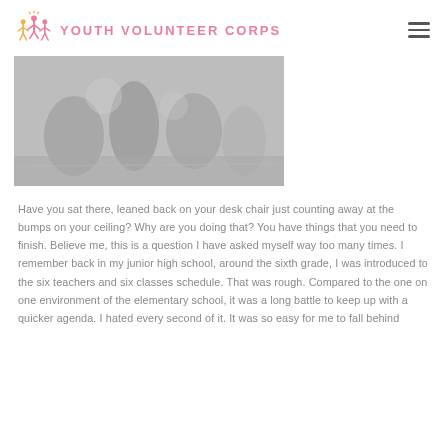YOUTH VOLUNTEER CORPS
[Figure (photo): Grayscale photo of people outdoors, appears to show volunteers or youth in an outdoor setting]
Have you sat there, leaned back on your desk chair just counting away at the bumps on your ceiling? Why are you doing that? You have things that you need to finish. Believe me, this is a question I have asked myself way too many times. I remember back in my junior high school, around the sixth grade, I was introduced to the six teachers and six classes schedule. That was rough. Compared to the one on one environment of the elementary school, it was a long battle to keep up with a quicker agenda. I hated every second of it. It was so easy for me to fall behind